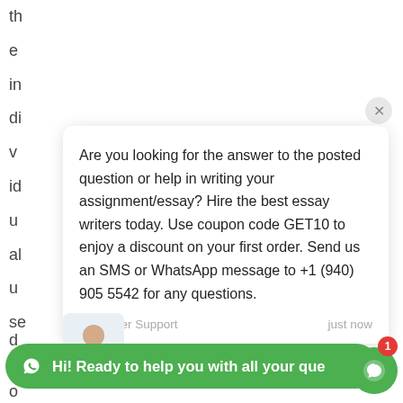th
e
in
di
v
id
u
al
u
se
[Figure (screenshot): Chat popup with customer support message about essay writing help, coupon code GET10, and WhatsApp contact +1 (940) 905 5542]
Are you looking for the answer to the posted question or help in writing your assignment/essay? Hire the best essay writers today. Use coupon code GET10 to enjoy a discount on your first order. Send us an SMS or WhatsApp message to +1 (940) 905 5542 for any questions.
Customer Support    just now
d
Hi! Ready to help you with all your que